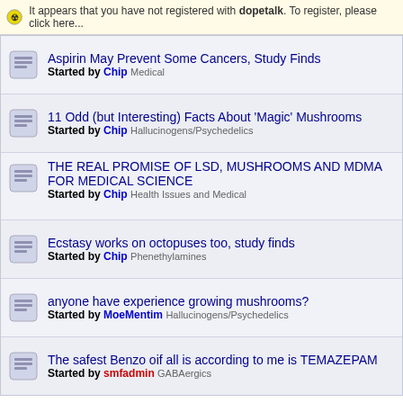It appears that you have not registered with dopetalk. To register, please click here...
Aspirin May Prevent Some Cancers, Study Finds
Started by Chip Medical
11 Odd (but Interesting) Facts About 'Magic' Mushrooms
Started by Chip Hallucinogens/Psychedelics
THE REAL PROMISE OF LSD, MUSHROOMS AND MDMA FOR MEDICAL SCIENCE
Started by Chip Health Issues and Medical
Ecstasy works on octopuses too, study finds
Started by Chip Phenethylamines
anyone have experience growing mushrooms?
Started by MoeMentim Hallucinogens/Psychedelics
The safest Benzo oif all is according to me is TEMAZEPAM
Started by smfadmin GABAergics
Need help or a chat ?
If you need any help or a chat then IM/PM
dopetalk does not endorse any advertised product nor does it